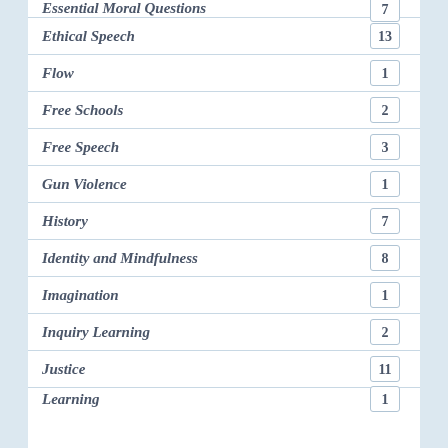Essential Moral Questions — 7
Ethical Speech — 13
Flow — 1
Free Schools — 2
Free Speech — 3
Gun Violence — 1
History — 7
Identity and Mindfulness — 8
Imagination — 1
Inquiry Learning — 2
Justice — 11
Learning — 1